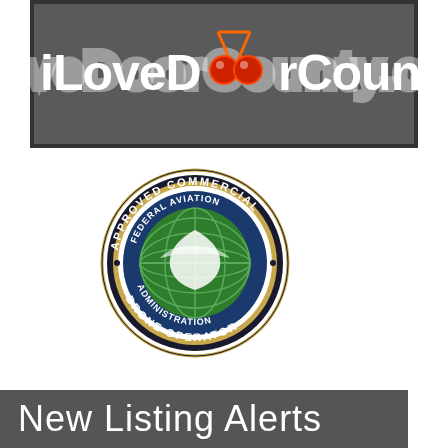[Figure (logo): iLoveDoorCounty.com neon sign logo on dark background]
[Figure (logo): FAA Federal Aviation Administration Approved Commercial Drone Operator seal]
[Figure (logo): New Listing Alerts text on dark gray background]